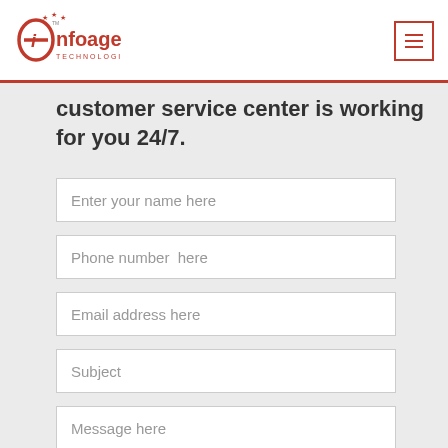[Figure (logo): Infoage Technologies logo with red circular icon and stars]
customer service center is working for you 24/7.
Enter your name here
Phone number  here
Email address here
Subject
Message here